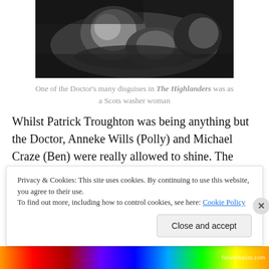[Figure (photo): Black and white photograph showing a person in disguise, lying or leaning, used as a Doctor's disguise scene from The Highlanders]
One of the Doctor's many disguises in The Highlanders was as a Scots washer woman
Whilst Patrick Troughton was being anything but the Doctor, Anneke Wills (Polly) and Michael Craze (Ben) were really allowed to shine. The character of Polly as been really growing on me, and I was not disappointed by
Privacy & Cookies: This site uses cookies. By continuing to use this website, you agree to their use.
To find out more, including how to control cookies, see here: Cookie Policy